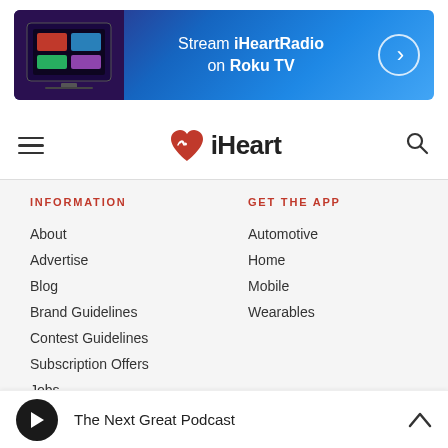[Figure (illustration): iHeartRadio banner advertisement: Stream iHeartRadio on Roku TV with arrow button, showing TV screen image on left side]
iHeart navigation bar with hamburger menu, iHeart logo, and search icon
INFORMATION
About
Advertise
Blog
Brand Guidelines
Contest Guidelines
Subscription Offers
Jobs
GET THE APP
Automotive
Home
Mobile
Wearables
The Next Great Podcast